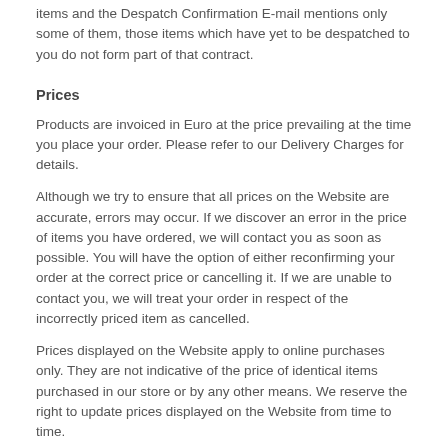items and the Despatch Confirmation E-mail mentions only some of them, those items which have yet to be despatched to you do not form part of that contract.
Prices
Products are invoiced in Euro at the price prevailing at the time you place your order. Please refer to our Delivery Charges for details.
Although we try to ensure that all prices on the Website are accurate, errors may occur. If we discover an error in the price of items you have ordered, we will contact you as soon as possible. You will have the option of either reconfirming your order at the correct price or cancelling it. If we are unable to contact you, we will treat your order in respect of the incorrectly priced item as cancelled.
Prices displayed on the Website apply to online purchases only. They are not indicative of the price of identical items purchased in our store or by any other means. We reserve the right to update prices displayed on the Website from time to time.
Payment
We accept the following methods of payment via the telephone: Visa, MasterCard & Laser cards. We also accept payment securely through Paypal and will also receive payment via cheque.
All prices are quoted in Euro and your credit card company will